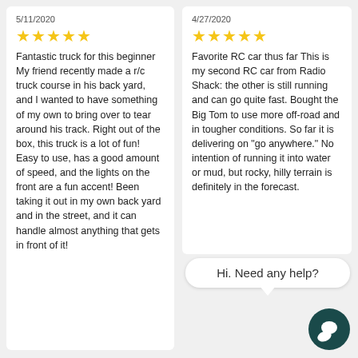5/11/2020
★★★★★
Fantastic truck for this beginner
My friend recently made a r/c truck course in his back yard, and I wanted to have something of my own to bring over to tear around his track. Right out of the box, this truck is a lot of fun! Easy to use, has a good amount of speed, and the lights on the front are a fun accent! Been taking it out in my own back yard and in the street, and it can handle almost anything that gets in front of it!
4/27/2020
★★★★★
Favorite RC car thus far
This is my second RC car from Radio Shack: the other is still running and can go quite fast. Bought the Big Tom to use more off-road and in tougher conditions. So far it is delivering on "go anywhere." No intention of running it into water or mud, but rocky, hilly terrain is definitely in the forecast.
Hi. Need any help?